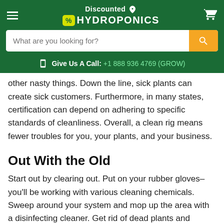Discounted Hydroponics
What are you looking for?
Give Us A Call: +1 888 936 4769 (GROW)
other nasty things. Down the line, sick plants can create sick customers. Furthermore, in many states, certification can depend on adhering to specific standards of cleanliness. Overall, a clean rig means fewer troubles for you, your plants, and your business.
Out With the Old
Start out by clearing out. Put on your rubber gloves–you'll be working with various cleaning chemicals. Sweep around your system and mop up the area with a disinfecting cleaner. Get rid of dead plants and remove leaves which can encourage the growth